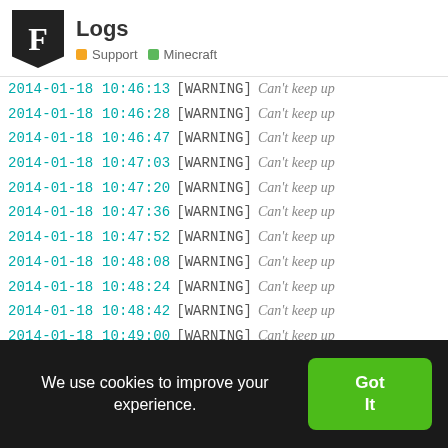Logs — Support | Minecraft
2014-01-18 10:46:13 [WARNING] Can't keep up
2014-01-18 10:46:28 [WARNING] Can't keep up
2014-01-18 10:46:47 [WARNING] Can't keep up
2014-01-18 10:47:03 [WARNING] Can't keep up
2014-01-18 10:47:20 [WARNING] Can't keep up
2014-01-18 10:47:36 [WARNING] Can't keep up
2014-01-18 10:47:52 [WARNING] Can't keep up
2014-01-18 10:48:08 [WARNING] Can't keep up
2014-01-18 10:48:24 [WARNING] Can't keep up
2014-01-18 10:48:42 [WARNING] Can't keep up
2014-01-18 10:49:00 [WARNING] Can't keep up
2014-01-18 10:49:17 [WARNING] Can't keep up
2014-01-18 10:49:37 [WARNING] Can't keep up
2014-01-18 10:49:51 [WARNING] Can't keep up
2014-01-18 10:50:07 [WARNING] Can't keep up
We use cookies to improve your experience.
Got It